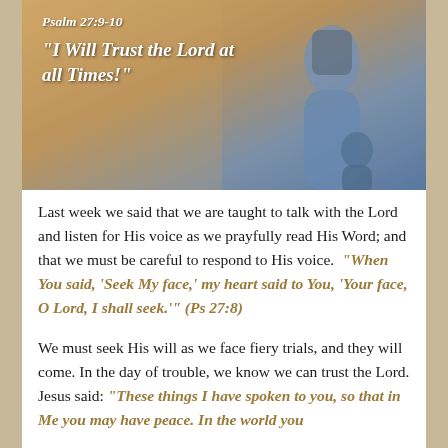[Figure (photo): Photo of a person (silhouette/backlit) with overlaid text: 'Psalm 27:9-10' and '"I Will Trust the Lord at all Times!"' on a warm golden/blue outdoor background]
Last week we said that we are taught to talk with the Lord and listen for His voice as we prayfully read His Word; and that we must be careful to respond to His voice. "When You said, 'Seek My face,' my heart said to You, 'Your face, O Lord, I shall seek.'" (Ps 27:8)
We must seek His will as we face fiery trials, and they will come. In the day of trouble, we know we can trust the Lord. Jesus said: "These things I have spoken to you, so that in Me you may have peace. In the world you